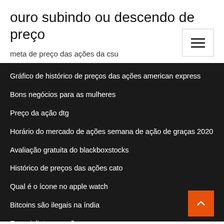ouro subindo ou descendo de preço
meta de preço das ações da csu
Gráfico de histórico de preços das ações american express
Bons negócios para as mulheres
Preço da ação dtg
Horário do mercado de ações semana de ação de graças 2020
Avaliação gratuita do blackboxstocks
Histórico de preços das ações cato
Qual é o ícone no apple watch
Bitcoins são ilegais na índia
Especialista em ações em nagpur